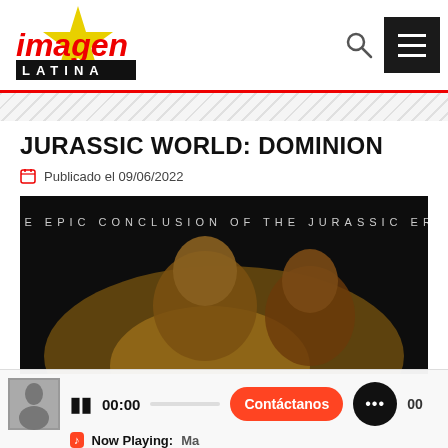[Figure (logo): Imagen Latina logo with yellow star and red/black text]
JURASSIC WORLD: DOMINION
Publicado el 09/06/2022
[Figure (photo): Jurassic World Dominion movie promotional image with text 'THE EPIC CONCLUSION OF THE JURASSIC ERA' and two actors]
II  00:00  Contáctanos  ...  00
Now Playing:  Ma